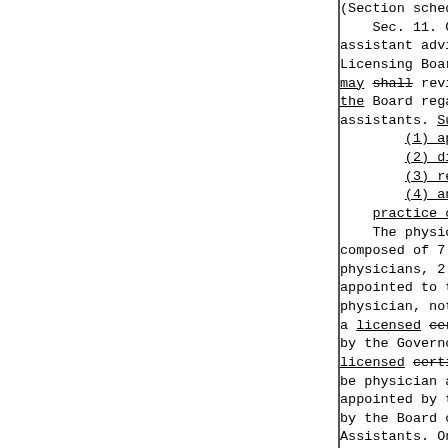(Section scheduled to be repealed...
Sec. 11. Committee. There is established a physician assistant advisory committee to the Department of Financial and Professional Regulation and Licensing Board. The physician assistant advisory committee may [shall] review and make recommendations to the Board regarding all matters relating to physician assistants. Such matters may include,
(1) applications for licensure
(2) disciplinary proceedings;
(3) renewal requirements; and
(4) any other issues pertaining to the practice of physician assistants i...
The physician assistant advisory committee shall be composed of 7 members. Three of the 7 members shall be physicians, 2 of whom shall be members appointed to the advisory committee by physician, not a member of the Board, and a licensed [certified] physician assistant appointed by the Governor from a list of Illinois licensed [certified] physician assistants, shall be physician assistants, licensed [cert...] appointed by the Governor from a list submitted by the Board of Directors of the Illinois Society of Physician Assistants. One member, not employed or having an interest in any health care field, shall be appointed by the Governor and represent the public. The chairperson of the physician assistant advisory committee shall be elected by a majority vote of the physician assistant advisory committee unless already a member of the... assistant advisory committee is required to... the Department and the Board continui...